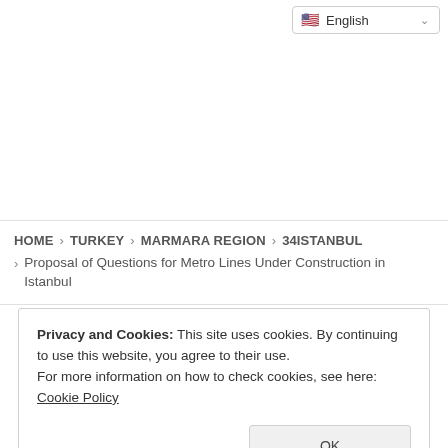English (language selector dropdown)
HOME > TURKEY > MARMARA REGION > 34ISTANBUL > Proposal of Questions for Metro Lines Under Construction in Istanbul
Privacy and Cookies: This site uses cookies. By continuing to use this website, you agree to their use.
For more information on how to check cookies, see here: Cookie Policy
OK